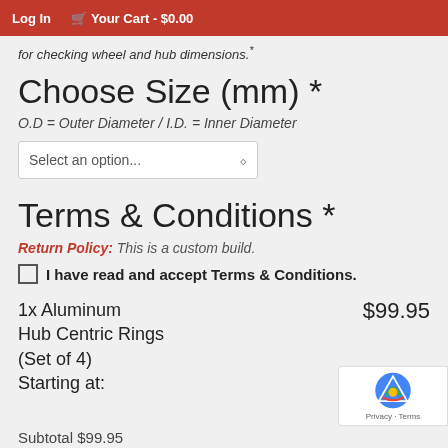Log In   🛒 Your Cart - $0.00
for checking wheel and hub dimensions.*
Choose Size (mm) *
O.D = Outer Diameter / I.D. = Inner Diameter
Select an option...
Terms & Conditions *
Return Policy: This is a custom build.
I have read and accept Terms & Conditions.
1x Aluminum Hub Centric Rings (Set of 4) Starting at:   $99.95
Subtotal $99.95